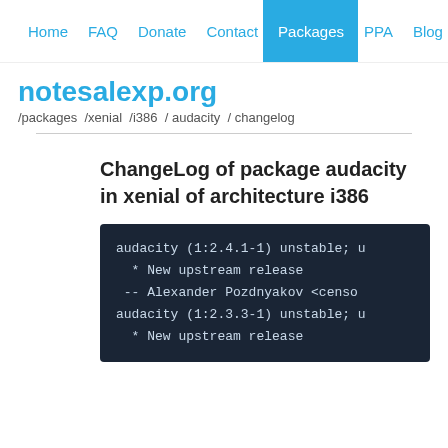Home  FAQ  Donate  Contact  Packages  PPA  Blog
notesalexp.org
/packages /xenial /i386 / audacity / changelog
ChangeLog of package audacity in xenial of architecture i386
audacity (1:2.4.1-1) unstable; u
  * New upstream release
 -- Alexander Pozdnyakov <censo
audacity (1:2.3.3-1) unstable; u
  * New upstream release